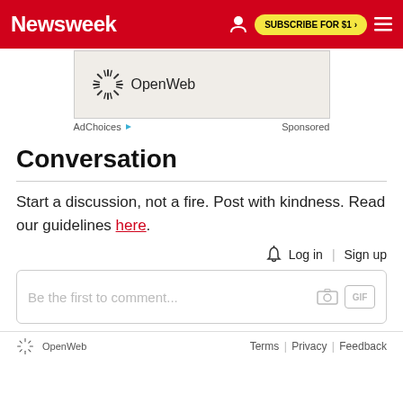Newsweek | SUBSCRIBE FOR $1 >
[Figure (logo): OpenWeb logo in a light beige ad box]
AdChoices  Sponsored
Conversation
Start a discussion, not a fire. Post with kindness. Read our guidelines here.
Log in | Sign up
Be the first to comment...
OpenWeb  Terms | Privacy | Feedback